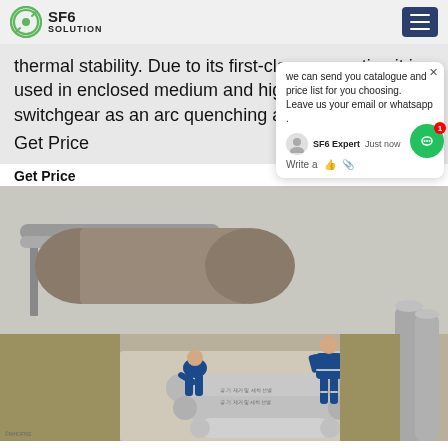SF6 SOLUTION
thermal stability. Due to its first-class properties it is used in enclosed medium and high voltage switchgear as an arc quenching and insulating gas. Get Price
we can send you catalogue and price list for you choosing. Leave us your email or whatsapp .
Get Price
[Figure (photo): Workers in blue coveralls handling SF6 gas cylinders at an industrial outdoor site. Large pressure vessels and pipes visible in background. Gas cylinders laid on the ground being serviced. Additional gray cylinders visible on the right side.]